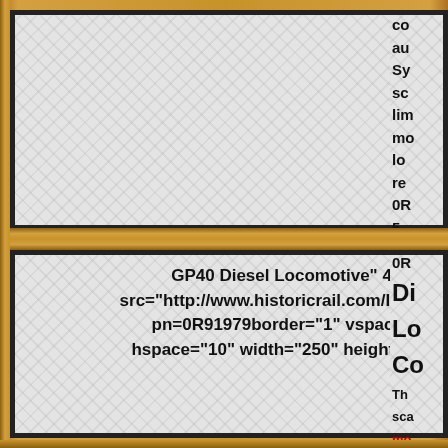[Figure (other): Top-left panel: diamond plate metal texture background in a wooden frame, no text visible]
co au Sy sc lim mc lo re 0R 5
GP40 Diesel Locomotive" 472" src="http://www.historicrail.com/Image.po?pn=0R91979border="1" vspace="4" hspace="10" width="250" height="126">
0R Di Lo Co Th sc mo po